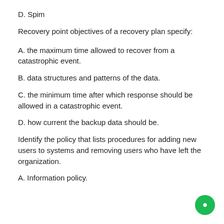D. Spim
Recovery point objectives of a recovery plan specify:
A. the maximum time allowed to recover from a catastrophic event.
B. data structures and patterns of the data.
C. the minimum time after which response should be allowed in a catastrophic event.
D. how current the backup data should be.
Identify the policy that lists procedures for adding new users to systems and removing users who have left the organization.
A. Information policy.